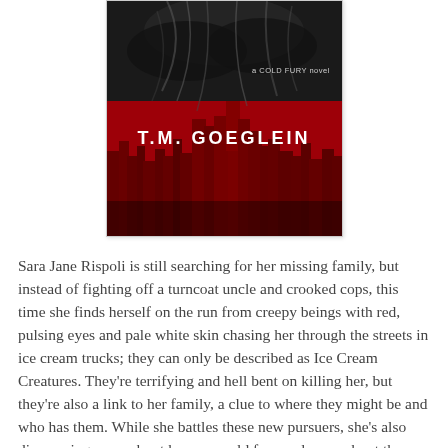[Figure (illustration): Book cover for a Cold Fury novel by T.M. Goeglein. Upper half shows a dark black-and-white image of hair/fur against a dark background with text 'a COLD FURY novel'. Lower half shows a red-tinted city skyline silhouette with the author name 'T.M. GOEGLEIN' in large white letters across the middle.]
Sara Jane Rispoli is still searching for her missing family, but instead of fighting off a turncoat uncle and crooked cops, this time she finds herself on the run from creepy beings with red, pulsing eyes and pale white skin chasing her through the streets in ice cream trucks; they can only be described as Ice Cream Creatures. They're terrifying and hell bent on killing her, but they're also a link to her family, a clue to where they might be and who has them. While she battles these new pursuers, she's also discovering more about her own cold fury and more about the Chicago Outfit, how the past misdeeds--old murders and vendettas--